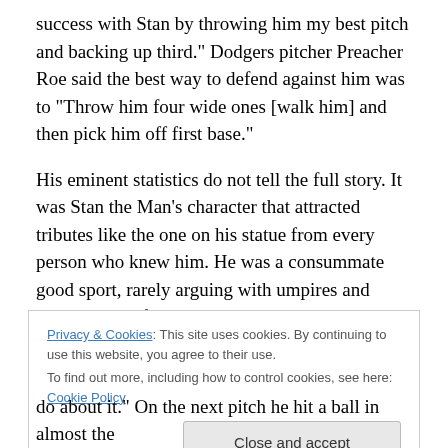success with Stan by throwing him my best pitch and backing up third." Dodgers pitcher Preacher Roe said the best way to defend against him was to “Throw him four wide ones [walk him] and then pick him off first base.”
His eminent statistics do not tell the full story. It was Stan the Man’s character that attracted tributes like the one on his statue from every person who knew him. He was a consummate good sport, rarely arguing with umpires and never ejected from a game. On one occasion he hit what appeared to be a double down the right field line, which
Privacy & Cookies: This site uses cookies. By continuing to use this website, you agree to their use.
To find out more, including how to control cookies, see here: Cookie Policy
Close and accept
do about it." On the next pitch he hit a ball in almost the